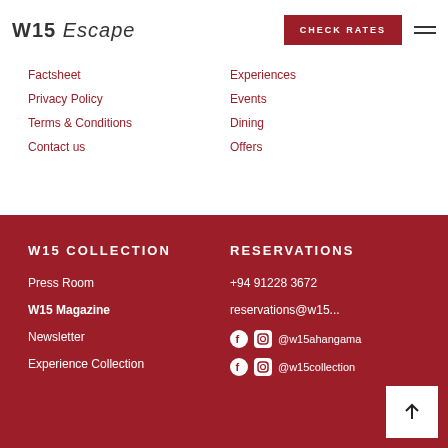W15 Escape | CHECK RATES
Factsheet
Experiences
Privacy Policy
Events
Terms & Conditions
Dining
Contact us
Offers
W15 COLLECTION
RESERVATIONS
Press Room
+94 91228 3672
W15 Magazine
reservations@w15...
Newsletter
@w15ahangama
Experience Collection
@w15collection